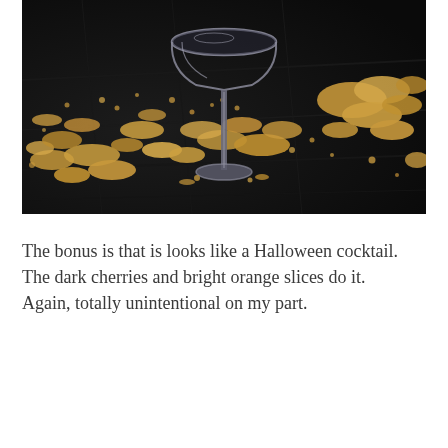[Figure (photo): Close-up photo of a cocktail glass stem on a dark slate surface covered with scattered golden-brown sugar or graham cracker crumbs.]
The bonus is that is looks like a Halloween cocktail. The dark cherries and bright orange slices do it. Again, totally unintentional on my part.